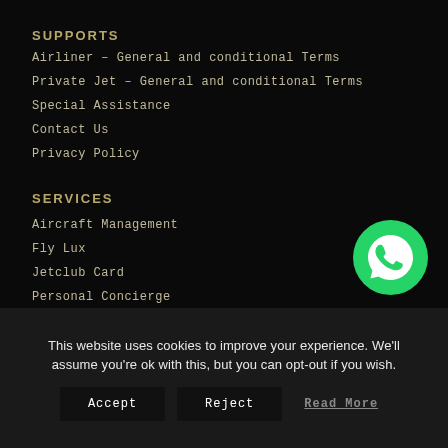SUPPORTS
Airliner – General and conditional Terms
Private Jet  – General and conditional Terms
Special Assistance
Contact Us
Privacy Policy
SERVICES
[Figure (logo): WhatsApp green phone icon in speech bubble]
Aircraft Management
Fly Lux
Jetclub Card
Personal Concierge
Transfer and Transportation
This website uses cookies to improve your experience. We'll assume you're ok with this, but you can opt-out if you wish.
Accept   Reject   Read More